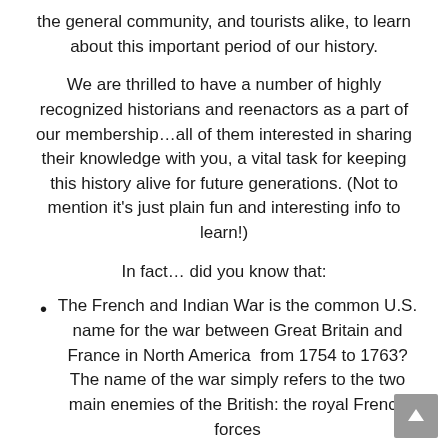the general community, and tourists alike, to learn about this important period of our history.
We are thrilled to have a number of highly recognized historians and reenactors as a part of our membership…all of them interested in sharing their knowledge with you, a vital task for keeping this history alive for future generations. (Not to mention it's just plain fun and interesting info to learn!)
In fact… did you know that:
The French and Indian War is the common U.S. name for the war between Great Britain and France in North America  from 1754 to 1763? The name of the war simply refers to the two main enemies of the British: the royal French forces